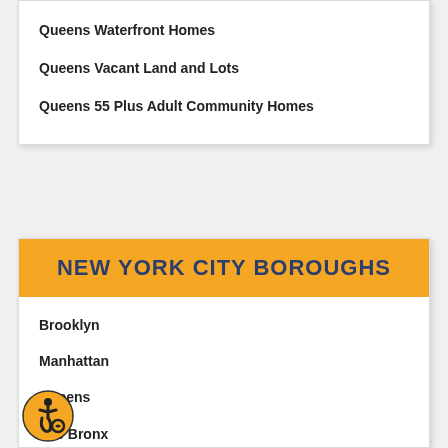Queens Waterfront Homes
Queens Vacant Land and Lots
Queens 55 Plus Adult Community Homes
NEW YORK CITY BOROUGHS
Brooklyn
Manhattan
Queens
The Bronx
Westchester